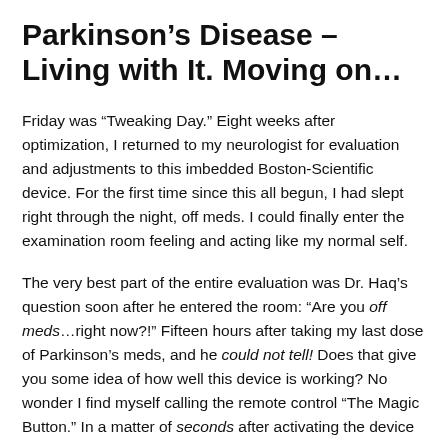Parkinson's Disease – Living with It. Moving on…
Friday was “Tweaking Day.” Eight weeks after optimization, I returned to my neurologist for evaluation and adjustments to this imbedded Boston-Scientific device. For the first time since this all begun, I had slept right through the night, off meds. I could finally enter the examination room feeling and acting like my normal self.
The very best part of the entire evaluation was Dr. Haq’s question soon after he entered the room: “Are you off meds…right now?!” Fifteen hours after taking my last dose of Parkinson’s meds, and he could not tell! Does that give you some idea of how well this device is working? No wonder I find myself calling the remote control “The Magic Button.” In a matter of seconds after activating the device